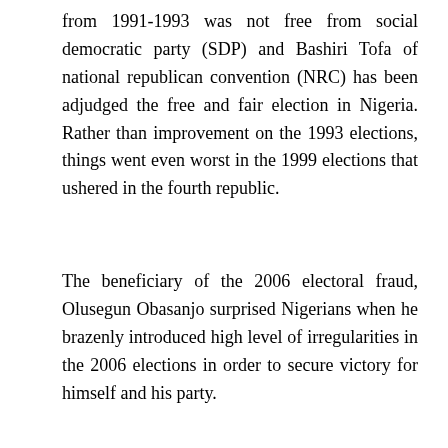from 1991-1993 was not free from social democratic party (SDP) and Bashiri Tofa of national republican convention (NRC) has been adjudged the free and fair election in Nigeria. Rather than improvement on the 1993 elections, things went even worst in the 1999 elections that ushered in the fourth republic.
The beneficiary of the 2006 electoral fraud, Olusegun Obasanjo surprised Nigerians when he brazenly introduced high level of irregularities in the 2006 elections in order to secure victory for himself and his party.